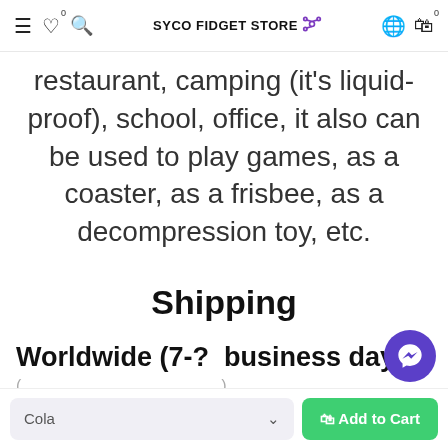SYCO FIDGET STORE
restaurant, camping (it's liquid-proof), school, office, it also can be used to play games, as a coaster, as a frisbee, as a decompression toy, etc.
Shipping
Worldwide (7-? business days)